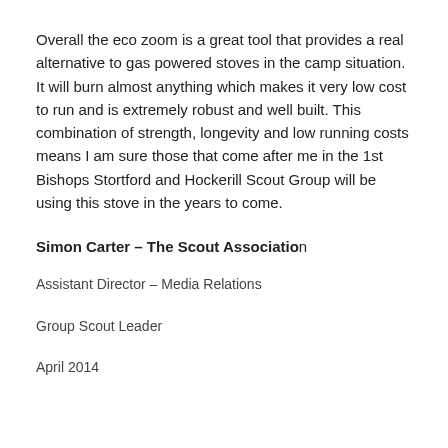Overall the eco zoom is a great tool that provides a real alternative to gas powered stoves in the camp situation. It will burn almost anything which makes it very low cost to run and is extremely robust and well built. This combination of strength, longevity and low running costs means I am sure those that come after me in the 1st Bishops Stortford and Hockerill Scout Group will be using this stove in the years to come.
Simon Carter – The Scout Association
Assistant Director – Media Relations
Group Scout Leader
April 2014